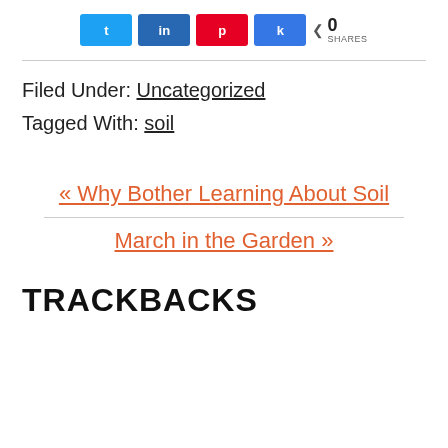[Figure (other): Social share buttons row: Twitter (blue), LinkedIn (dark blue), Pinterest (red), Share (blue), with share count showing 0 SHARES]
Filed Under: Uncategorized
Tagged With: soil
« Why Bother Learning About Soil
March in the Garden »
TRACKBACKS